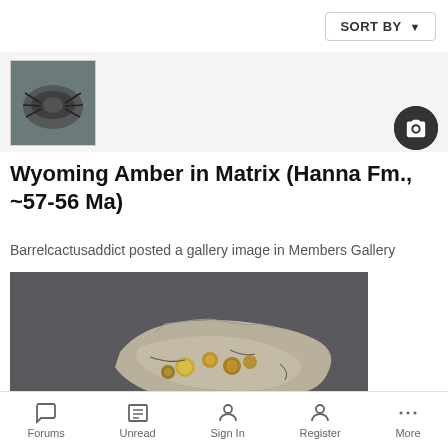SORT BY
[Figure (photo): Small thumbnail image of a fossil specimen, dark background]
Wyoming Amber in Matrix (Hanna Fm., ~57-56 Ma)
Barrelcactusaddict posted a gallery image in Members Gallery
[Figure (photo): Photo of Wyoming Amber in Matrix fossil specimen on a clear acrylic display stand, against a dark gray fabric background. The specimen shows rough yellowish-gray rock matrix with amber nodules.]
Forums  Unread  Sign In  Register  More